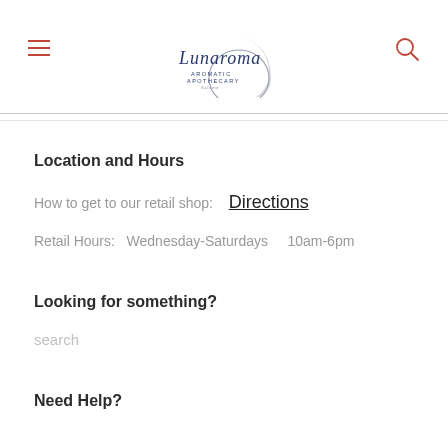Lunaroma Aromatic Apothecary
Location and Hours
How to get to our retail shop:  Directions
Retail Hours:  Wednesday-Saturdays    10am-6pm
Looking for something?
search
Need Help?